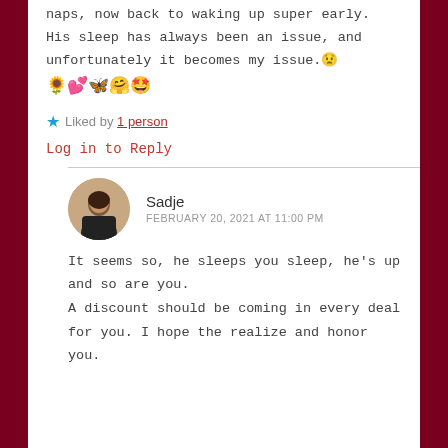naps, now back to waking up super early. His sleep has always been an issue, and unfortunately it becomes my issue. 😞 🌻💕🦋🤗🤩
★ Liked by 1 person
Log in to Reply
Sadje
FEBRUARY 20, 2021 AT 11:00 PM
It seems so, he sleeps you sleep, he's up and so are you.
A discount should be coming in every deal for you. I hope the realize and honor you.